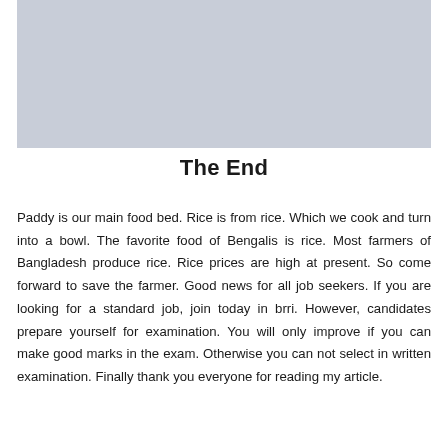[Figure (photo): Light gray rectangular placeholder image at the top of the page]
The End
Paddy is our main food bed. Rice is from rice. Which we cook and turn into a bowl. The favorite food of Bengalis is rice. Most farmers of Bangladesh produce rice. Rice prices are high at present. So come forward to save the farmer. Good news for all job seekers. If you are looking for a standard job, join today in brri. However, candidates prepare yourself for examination. You will only improve if you can make good marks in the exam. Otherwise you can not select in written examination. Finally thank you everyone for reading my article.